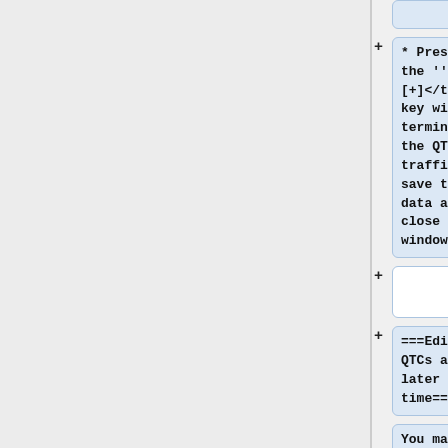* Pressing the '''<tt>[+]</tt>''' key will terminate the QTC traffic, save the QTC data and close the window.
===Editing QTCs at a later time===
You may want to re-open the QTC